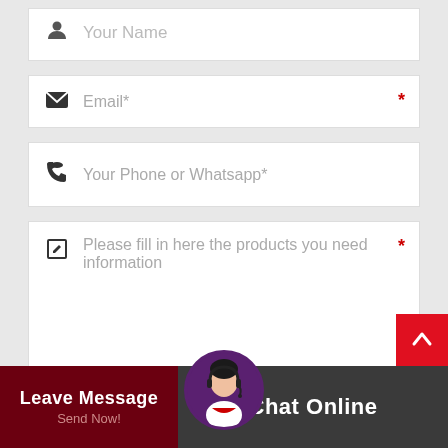[Figure (screenshot): Contact form UI with fields: Your Name (partially visible at top), Email* (with required star), Your Phone or Whatsapp* (with required star), and a textarea for products information (with required star). At bottom is a chat widget bar with Leave Message/Send Now button, an agent avatar, and Chat Online button.]